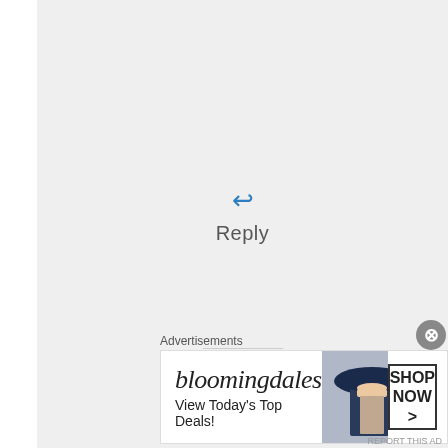[Figure (screenshot): Reply button with blue reply arrow icon and 'Reply' text label on a light gray background]
[Figure (photo): Small circular user avatar showing a colorful image]
Advertisements
[Figure (other): Bloomingdales advertisement banner: 'bloomingdales View Today's Top Deals!' with woman in hat and 'SHOP NOW >' button]